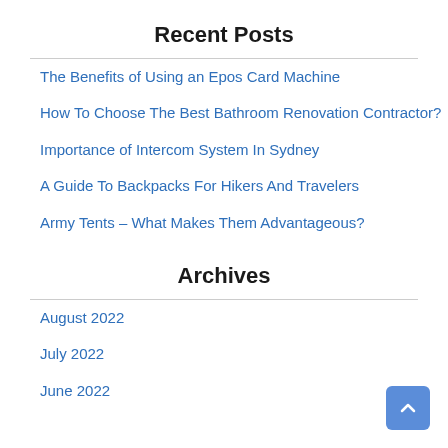Recent Posts
The Benefits of Using an Epos Card Machine
How To Choose The Best Bathroom Renovation Contractor?
Importance of Intercom System In Sydney
A Guide To Backpacks For Hikers And Travelers
Army Tents – What Makes Them Advantageous?
Archives
August 2022
July 2022
June 2022